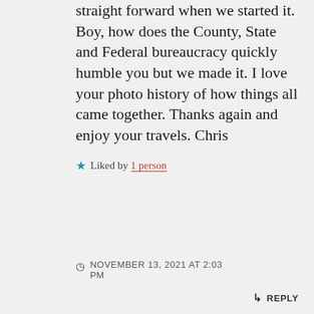straight forward when we started it. Boy, how does the County, State and Federal bureaucracy quickly humble you but we made it. I love your photo history of how things all came together. Thanks again and enjoy your travels. Chris
★ Liked by 1 person
NOVEMBER 13, 2021 AT 2:03 PM
↳ REPLY